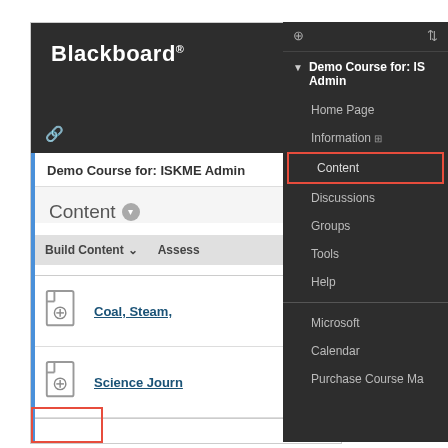[Figure (screenshot): Blackboard LMS interface showing left content panel with 'Demo Course for: ISKME Admin' title, Content section with Build Content toolbar, and two linked items: 'Coal, Steam,...' and 'Science Journ...'. A blue vertical bar is on the left edge. A red outline box is at the bottom-left corner.]
[Figure (screenshot): Blackboard LMS dark sidebar navigation showing Demo Course for: IS Admin with menu items: Home Page, Information, Content (highlighted with red border), Discussions, Groups, Tools, Help, Microsoft, Calendar, Purchase Course Ma...]